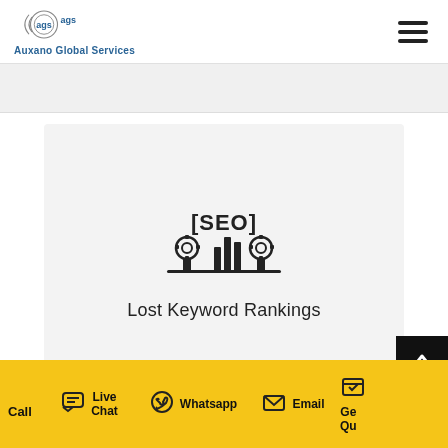[Figure (logo): Auxano Global Services logo with circular AGS emblem and company name text in blue]
[Figure (illustration): SEO icon illustration showing stylized search/rankings symbol with wrench tools, labeled 'Lost Keyword Rankings']
Lost Keyword Rankings
Call
Live Chat
Whatsapp
Email
Ge Qu